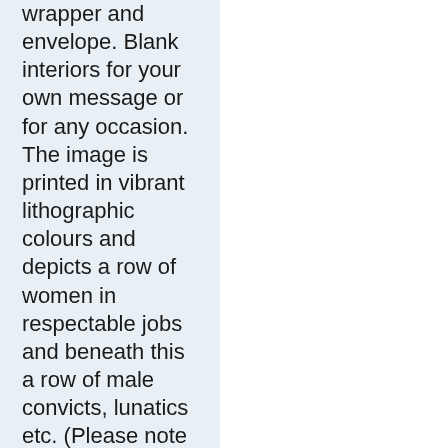wrapper and envelope. Blank interiors for your own message or for any occasion. The image is printed in vibrant lithographic colours and depicts a row of women in respectable jobs and beneath this a row of male convicts, lunatics etc. (Please note that the sample electronic image, unlike the cards themselves, is watermarked with a Portrayer insignia and reduced in